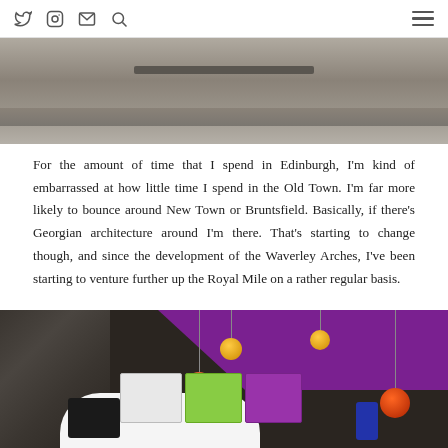Social media icons (Twitter, Instagram, Email, Search) and hamburger menu
[Figure (photo): Close-up photo of rough stone masonry / architecture — grey stone blocks]
For the amount of time that I spend in Edinburgh, I'm kind of embarrassed at how little time I spend in the Old Town. I'm far more likely to bounce around New Town or Bruntsfield. Basically, if there's Georgian architecture around I'm there. That's starting to change though, and since the development of the Waverley Arches, I've been starting to venture further up the Royal Mile on a rather regular basis.
[Figure (photo): Interior of a venue — stone arched ceiling, purple ceiling panel, colourful pendant globe lights in orange/red and yellow, white curved counter with menu cards and a tablet device]